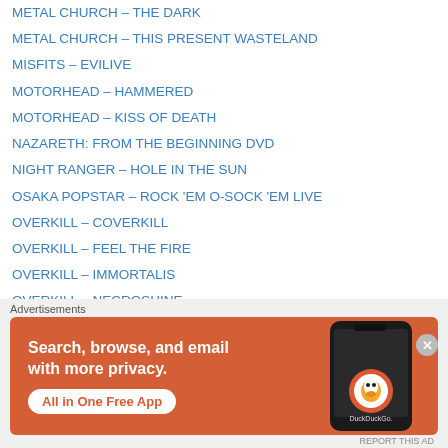METAL CHURCH – THE DARK
METAL CHURCH – THIS PRESENT WASTELAND
MISFITS – EVILIVE
MOTORHEAD – HAMMERED
MOTORHEAD – KISS OF DEATH
NAZARETH: FROM THE BEGINNING DVD
NIGHT RANGER – HOLE IN THE SUN
OSAKA POPSTAR – ROCK 'EM O-SOCK 'EM LIVE
OVERKILL – COVERKILL
OVERKILL – FEEL THE FIRE
OVERKILL – IMMORTALIS
OVERKILL – NECROSHINE
OVERKILL – TAKING OVER
OVERKILL – WRECKING EVERYTHING:LIVE FROM ASBURY PARK
[Figure (infographic): DuckDuckGo advertisement banner: orange background with text 'Search, browse, and email with more privacy. All in One Free App' and a phone graphic with DuckDuckGo logo]